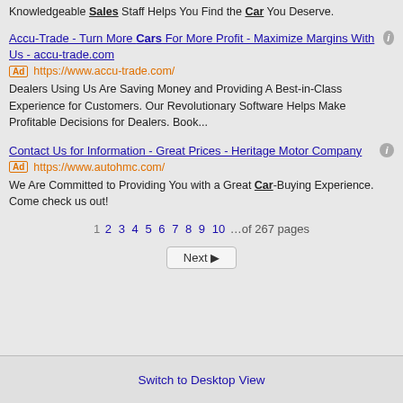Knowledgeable Sales Staff Helps You Find the Car You Deserve.
Accu-Trade - Turn More Cars For More Profit - Maximize Margins With Us - accu-trade.com
Ad https://www.accu-trade.com/
Dealers Using Us Are Saving Money and Providing A Best-in-Class Experience for Customers. Our Revolutionary Software Helps Make Profitable Decisions for Dealers. Book...
Contact Us for Information - Great Prices - Heritage Motor Company
Ad https://www.autohmc.com/
We Are Committed to Providing You with a Great Car-Buying Experience. Come check us out!
1 2 3 4 5 6 7 8 9 10 …of 267 pages
Next ▶
Switch to Desktop View